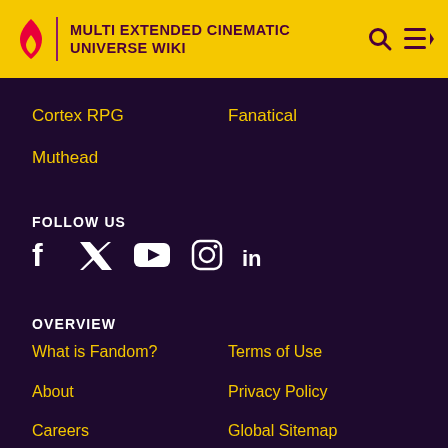MULTI EXTENDED CINEMATIC UNIVERSE WIKI
Cortex RPG
Fanatical
Muthead
FOLLOW US
[Figure (illustration): Social media icons: Facebook, Twitter, YouTube, Instagram, LinkedIn]
OVERVIEW
What is Fandom?
Terms of Use
About
Privacy Policy
Careers
Global Sitemap
Press
Local Sitemap